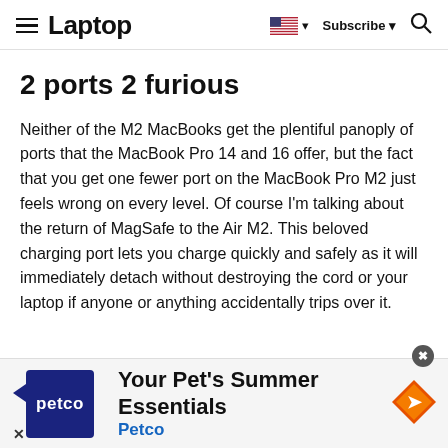Laptop — Subscribe — Search
2 ports 2 furious
Neither of the M2 MacBooks get the plentiful panoply of ports that the MacBook Pro 14 and 16 offer, but the fact that you get one fewer port on the MacBook Pro M2 just feels wrong on every level. Of course I'm talking about the return of MagSafe to the Air M2. This beloved charging port lets you charge quickly and safely as it will immediately detach without destroying the cord or your laptop if anyone or anything accidentally trips over it.
[Figure (other): Advertisement banner for Petco: 'Your Pet's Summer Essentials — Petco']